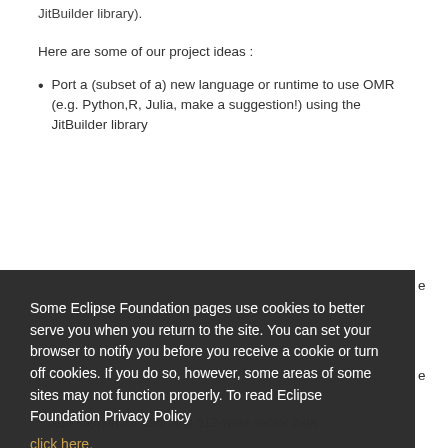JitBuilder library).
Here are some of our project ideas :
Port a (subset of a) new language or runtime to use OMR (e.g. Python,R, Julia, make a suggestion!) using the JitBuilder library
[Figure (screenshot): Cookie consent overlay on Eclipse Foundation website. Contains text about cookies policy, a 'click here' link, and two buttons: 'Decline' and 'Allow cookies'.]